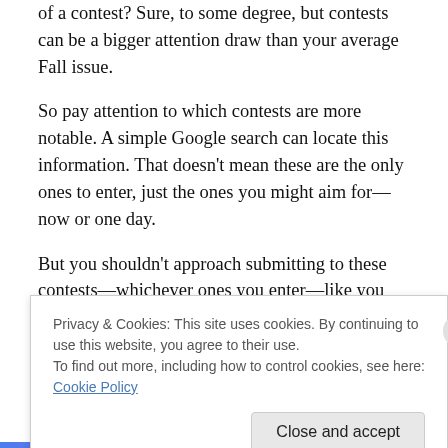of a contest? Sure, to some degree, but contests can be a bigger attention draw than your average Fall issue.
So pay attention to which contests are more notable. A simple Google search can locate this information. That doesn't mean these are the only ones to enter, just the ones you might aim for—now or one day.
But you shouldn't approach submitting to these contests—whichever ones you enter—like you would the lottery: I hope my story gets picked! Sure, luck and chance are factors. However, unlike playing the lottery, there are a few
Privacy & Cookies: This site uses cookies. By continuing to use this website, you agree to their use.
To find out more, including how to control cookies, see here: Cookie Policy
Close and accept